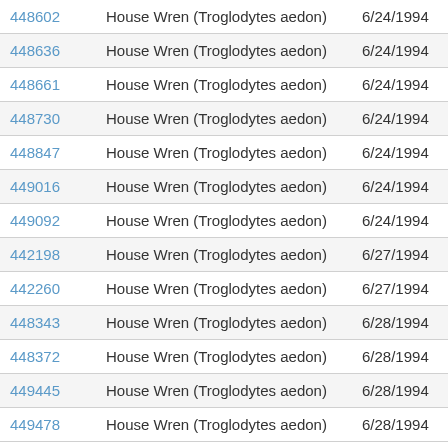| ID | Species | Date |  |
| --- | --- | --- | --- |
| 448602 | House Wren (Troglodytes aedon) | 6/24/1994 | id |
| 448636 | House Wren (Troglodytes aedon) | 6/24/1994 | id |
| 448661 | House Wren (Troglodytes aedon) | 6/24/1994 | id |
| 448730 | House Wren (Troglodytes aedon) | 6/24/1994 | id |
| 448847 | House Wren (Troglodytes aedon) | 6/24/1994 | id |
| 449016 | House Wren (Troglodytes aedon) | 6/24/1994 | id |
| 449092 | House Wren (Troglodytes aedon) | 6/24/1994 | id |
| 442198 | House Wren (Troglodytes aedon) | 6/27/1994 | id |
| 442260 | House Wren (Troglodytes aedon) | 6/27/1994 | id |
| 448343 | House Wren (Troglodytes aedon) | 6/28/1994 | id |
| 448372 | House Wren (Troglodytes aedon) | 6/28/1994 | id |
| 449445 | House Wren (Troglodytes aedon) | 6/28/1994 | id |
| 449478 | House Wren (Troglodytes aedon) | 6/28/1994 | id |